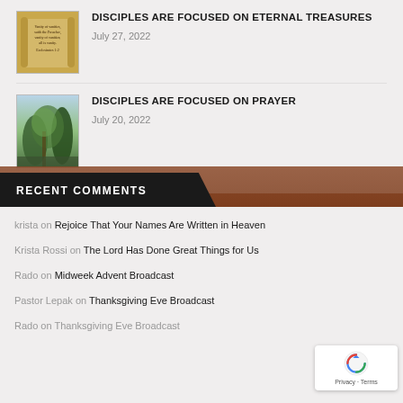[Figure (illustration): Thumbnail image of a scroll with text resembling Ecclesiastes 1:2]
DISCIPLES ARE FOCUSED ON ETERNAL TREASURES
July 27, 2022
[Figure (photo): Thumbnail image of a nature scene with trees and light]
DISCIPLES ARE FOCUSED ON PRAYER
July 20, 2022
RECENT COMMENTS
krista on Rejoice That Your Names Are Written in Heaven
Krista Rossi on The Lord Has Done Great Things for Us
Rado on Midweek Advent Broadcast
Pastor Lepak on Thanksgiving Eve Broadcast
Rado on Thanksgiving Eve Broadcast